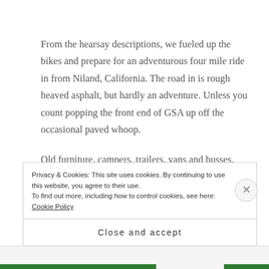From the hearsay descriptions, we fueled up the bikes and prepare for an adventurous four mile ride in from Niland, California. The road in is rough heaved asphalt, but hardly an adventure. Unless you count popping the front end of GSA up off the occasional paved whoop.
Old furniture, campers, trailers, vans and busses, pop culture and derelicts wash up here, Slab City feels like life after culture. The tattered edge of American culture has pooled here, hippies, drop outs, off-gridders,
Privacy & Cookies: This site uses cookies. By continuing to use this website, you agree to their use.
To find out more, including how to control cookies, see here: Cookie Policy
Close and accept